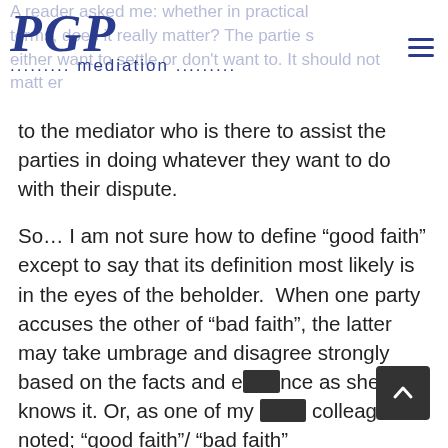PGP mediation
to the mediator who is there to assist the parties in doing whatever they want to do with their dispute.
So… I am not sure how to define “good faith” except to say that its definition most likely is in the eyes of the beholder.  When one party accuses the other of “bad faith”, the latter may take umbrage and disagree strongly based on the facts and evidence as she knows it. Or, as one of my other colleagues noted; “good faith”/ “bad faith”